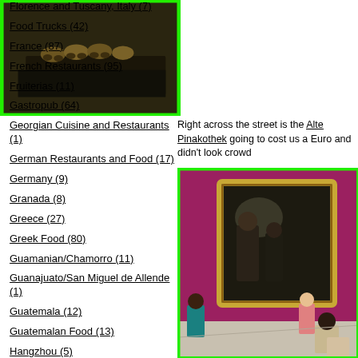Florence and Tuscany, Italy (7)
Food Trucks (42)
France (87)
French Restaurants (95)
Fruiterias (11)
Gastropub (64)
Georgian Cuisine and Restaurants (1)
German Restaurants and Food (17)
Germany (9)
Granada (8)
Greece (27)
Greek Food (80)
Guamanian/Chamorro (11)
Guanajuato/San Miguel de Allende (1)
Guatemala (12)
Guatemalan Food (13)
Hangzhou (5)
Hanoi (13)
[Figure (photo): Close-up photo of a dark bronze or metal sculpture resting on a black pedestal, viewed from the side, showing clawed feet or toes.]
Right across the street is the Alte Pinakothek going to cost us a Euro and didn't look crowd
[Figure (photo): Interior of an art museum with deep red/magenta walls. A large ornate gold-framed painting depicting robed figures is displayed prominently. Several museum visitors are seen from behind looking at paintings.]